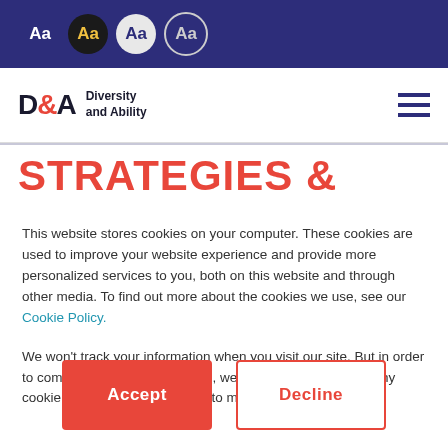[Figure (other): Top navigation bar with font size selector circles: plain Aa, dark circle Aa, light circle Aa, outline circle Aa on dark navy background]
[Figure (logo): D&A Diversity and Ability logo with hamburger menu icon]
STRATEGIES &
This website stores cookies on your computer. These cookies are used to improve your website experience and provide more personalized services to you, both on this website and through other media. To find out more about the cookies we use, see our Cookie Policy.
We won't track your information when you visit our site. But in order to comply with your preferences, we'll have to use just one tiny cookie so that you're not asked to make this choice again.